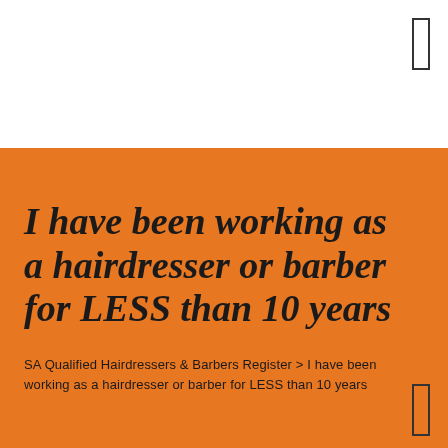I have been working as a hairdresser or barber for LESS than 10 years
SA Qualified Hairdressers & Barbers Register > I have been working as a hairdresser or barber for LESS than 10 years